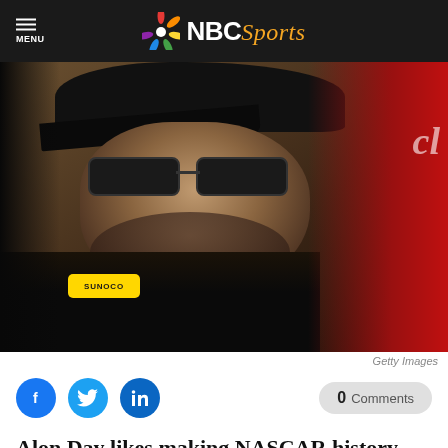MENU | NBC Sports
[Figure (photo): Close-up photo of a NASCAR driver wearing sunglasses, a black cap, and a jacket with a Sunoco patch, with a red-uniformed person visible in the background.]
Getty Images
Facebook share | Twitter share | LinkedIn share | 0 Comments
Alon Day likes making NASCAR history – and he'll do so again Sunday at Sonoma Raceway.